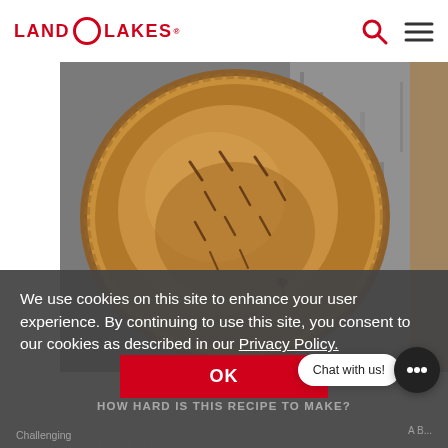LAND O LAKES
[Figure (photo): Top-down photo of a baked pie with crimped crust and steam vents, sitting on a granite countertop surface]
We use cookies on this site to enhance your user experience. By continuing to use this site, you consent to our cookies as described in our Privacy Policy.
OK
HOW HARD IS THIS RECIPE TO MAKE?
Challenging
WOULD YOU EVER MAKE IT AGAIN?